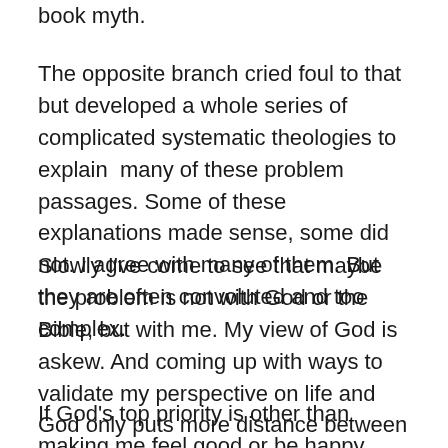book myth.
The opposite branch cried foul to that but developed a whole series of complicated systematic theologies to explain  many of these problem passages. Some of these explanations made sense, some did not. I agree with many of them. But they are often convoluted and too complex.
Slowly I've come to see that maybe the problem is not with God or the Bible, but with me. My view of God is askew. And coming up with ways to validate my perspective on life and God only puts more distance between God and me. I have begun to believe maybe God holds more in his hand for me (and all of creation) than me feeling good.
If God's top priority is other than making me feel good or be happy, then maybe it's okay to be uncomfortable, not